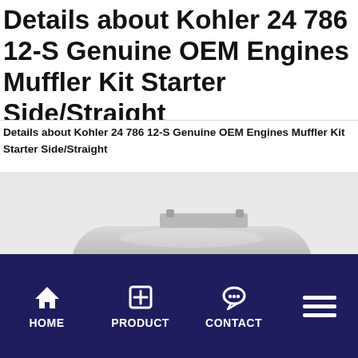Details about  Kohler 24 786 12-S Genuine OEM Engines Muffler Kit Starter Side/Straight
Details about  Kohler 24 786 12-S Genuine OEM Engines Muffler Kit Starter Side/Straight
[Figure (photo): Photo of a Kohler 24 786 12-S muffler kit showing a cylindrical silver metallic muffler body with mounting bracket and exhaust pipes, displayed against a white background.]
HOME  PRODUCT  CONTACT